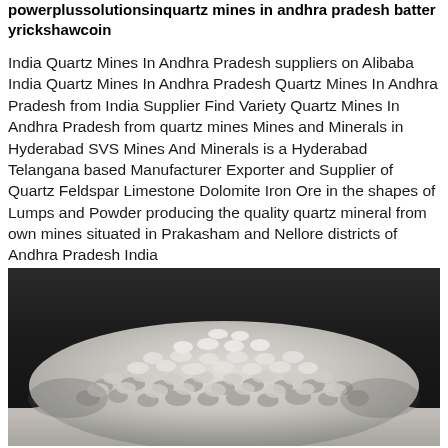powerplussolutionsinquartz mines in andhra pradesh batteryrickshawcoin
India Quartz Mines In Andhra Pradesh suppliers on Alibaba India Quartz Mines In Andhra Pradesh Quartz Mines In Andhra Pradesh from India Supplier Find Variety Quartz Mines In Andhra Pradesh from quartz mines Mines and Minerals in Hyderabad SVS Mines And Minerals is a Hyderabad Telangana based Manufacturer Exporter and Supplier of Quartz Feldspar Limestone Dolomite Iron Ore in the shapes of Lumps and Powder producing the quality quartz mineral from own mines situated in Prakasham and Nellore districts of Andhra Pradesh India 【OBTENIR LE PRIX】
[Figure (photo): A pile of light grey quartz gravel/crushed stone mineral chunks on a surface with a dark blurred background]